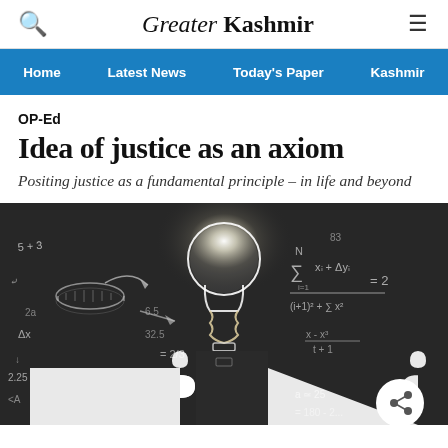Greater Kashmir
Home | Latest News | Today's Paper | Kashmir
OP-Ed
Idea of justice as an axiom
Positing justice as a fundamental principle – in life and beyond
[Figure (photo): Chalkboard with mathematical equations and two puzzle piece silhouettes of human heads, with a glowing light bulb in the center. A share icon is visible in the bottom right corner.]